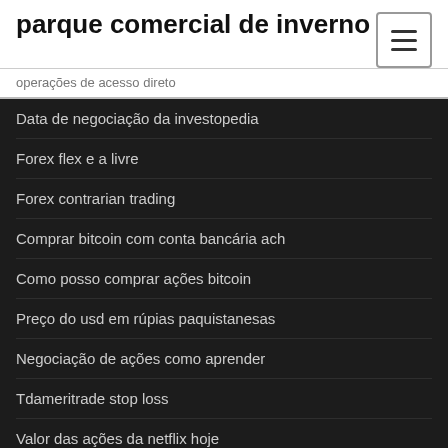parque comercial de inverno
operações de acesso direto
Data de negociação da investopedia
Forex flex e a livre
Forex contrarian trading
Comprar bitcoin com conta bancária ach
Como posso comprar ações bitcoin
Preço do usd em rúpias paquistanesas
Negociação de ações como aprender
Tdameritrade stop loss
Valor das ações da netflix hoje
O melhor software de gráficos de ações